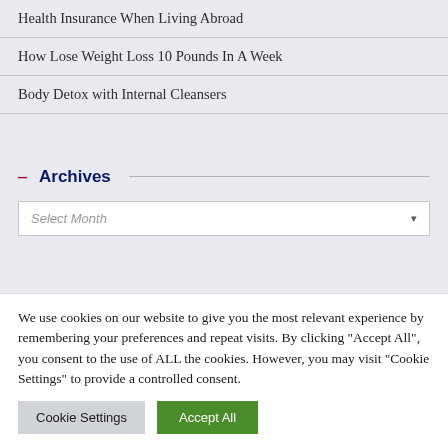Health Insurance When Living Abroad
How Lose Weight Loss 10 Pounds In A Week
Body Detox with Internal Cleansers
– Archives
Select Month
We use cookies on our website to give you the most relevant experience by remembering your preferences and repeat visits. By clicking "Accept All", you consent to the use of ALL the cookies. However, you may visit "Cookie Settings" to provide a controlled consent.
Cookie Settings
Accept All